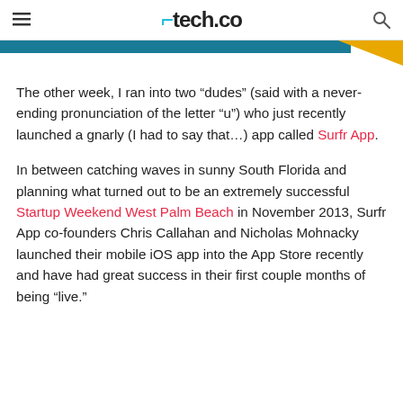tech.co
[Figure (other): Decorative header bar — teal/blue horizontal bar on the left with a gold/yellow triangular corner element on the right]
The other week, I ran into two “dudes” (said with a never-ending pronunciation of the letter “u”) who just recently launched a gnarly (I had to say that…) app called Surfr App.
In between catching waves in sunny South Florida and planning what turned out to be an extremely successful Startup Weekend West Palm Beach in November 2013, Surfr App co-founders Chris Callahan and Nicholas Mohnacky launched their mobile iOS app into the App Store recently and have had great success in their first couple months of being “live.”